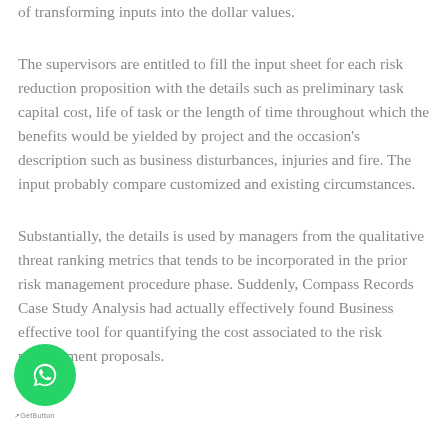of transforming inputs into the dollar values.
The supervisors are entitled to fill the input sheet for each risk reduction proposition with the details such as preliminary task capital cost, life of task or the length of time throughout which the benefits would be yielded by project and the occasion's description such as business disturbances, injuries and fire. The input probably compare customized and existing circumstances.
Substantially, the details is used by managers from the qualitative threat ranking metrics that tends to be incorporated in the prior risk management procedure phase. Suddenly, Compass Records Case Study Analysis had actually effectively found Business effective tool for quantifying the cost associated to the risk management proposals.